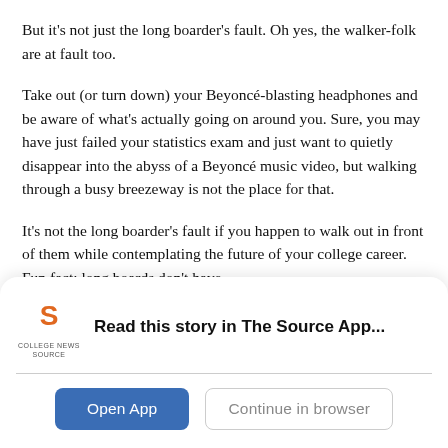But it's not just the long boarder's fault. Oh yes, the walker-folk are at fault too.
Take out (or turn down) your Beyoncé-blasting headphones and be aware of what's actually going on around you. Sure, you may have just failed your statistics exam and just want to quietly disappear into the abyss of a Beyoncé music video, but walking through a busy breezeway is not the place for that.
It's not the long boarder's fault if you happen to walk out in front of them while contemplating the future of your college career. Fun fact: long boards don't have
[Figure (logo): College News Source logo with stylized S icon and text 'COLLEGE NEWS SOURCE']
Read this story in The Source App...
Open App
Continue in browser